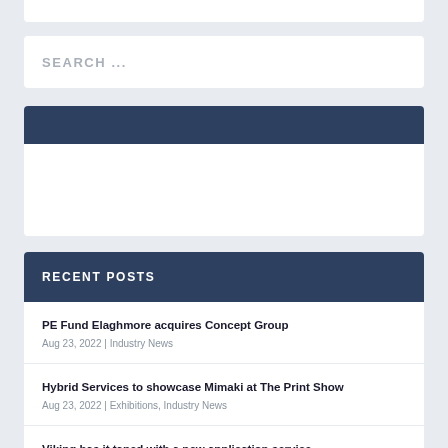SEARCH ...
RECENT POSTS
PE Fund Elaghmore acquires Concept Group
Aug 23, 2022 | Industry News
Hybrid Services to showcase Mimaki at The Print Show
Aug 23, 2022 | Exhibitions, Industry News
Viking has it taped with a new application service